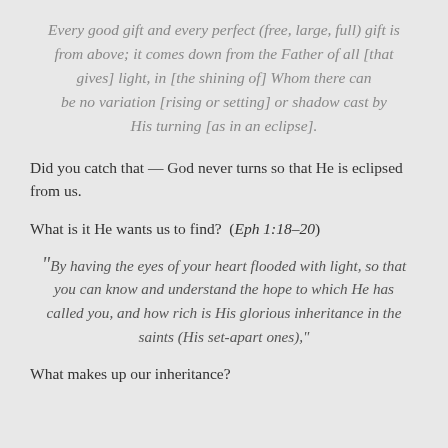Every good gift and every perfect (free, large, full) gift is from above; it comes down from the Father of all [that gives] light, in [the shining of] Whom there can be no variation [rising or setting] or shadow cast by His turning [as in an eclipse].
Did you catch that — God never turns so that He is eclipsed from us.
What is it He wants us to find?  (Eph 1:18–20)
“By having the eyes of your heart flooded with light, so that you can know and understand the hope to which He has called you, and how rich is His glorious inheritance in the saints (His set-apart ones),”
What makes up our inheritance?